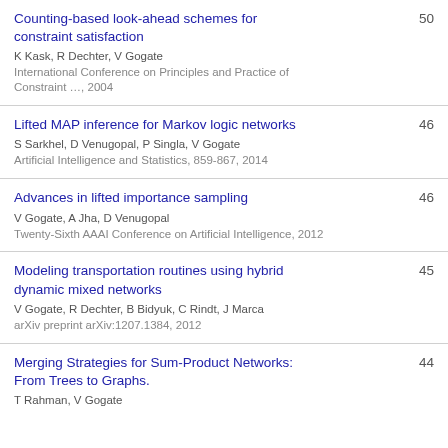Counting-based look-ahead schemes for constraint satisfaction
K Kask, R Dechter, V Gogate
International Conference on Principles and Practice of Constraint …, 2004
50
Lifted MAP inference for Markov logic networks
S Sarkhel, D Venugopal, P Singla, V Gogate
Artificial Intelligence and Statistics, 859-867, 2014
46
Advances in lifted importance sampling
V Gogate, A Jha, D Venugopal
Twenty-Sixth AAAI Conference on Artificial Intelligence, 2012
46
Modeling transportation routines using hybrid dynamic mixed networks
V Gogate, R Dechter, B Bidyuk, C Rindt, J Marca
arXiv preprint arXiv:1207.1384, 2012
45
Merging Strategies for Sum-Product Networks: From Trees to Graphs.
T Rahman, V Gogate
44